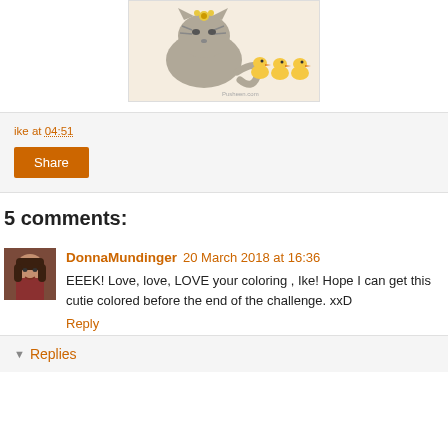[Figure (illustration): Pusheen cat illustration with small ducklings, on a light beige/cream background with a border]
ike at 04:51
Share
5 comments:
DonnaMundinger 20 March 2018 at 16:36
EEEK! Love, love, LOVE your coloring , Ike! Hope I can get this cutie colored before the end of the challenge. xxD
Reply
Replies